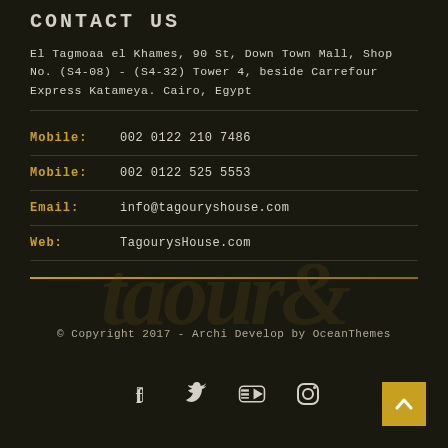CONTACT US
El Tagmoaa el Khames, 90 St, Down Town Mall, Shop No. (S4-08) - (S4-32) Tower 4, beside Carrefour Express Katameya. Cairo, Egypt
Mobile:   002 0122 210 7486
Mobile:   002 0122 525 5553
Email:    info@tagouryshouse.com
Web:      TagourysHouse.com
[Figure (illustration): Faded watermark-style italic text in the background, partially visible]
© Copyright 2017 - Archi Develop by OceanThemes
[Figure (infographic): Social media icons row: Facebook, Twitter, YouTube, Instagram. Back-to-top button (golden square with up arrow) at bottom right.]